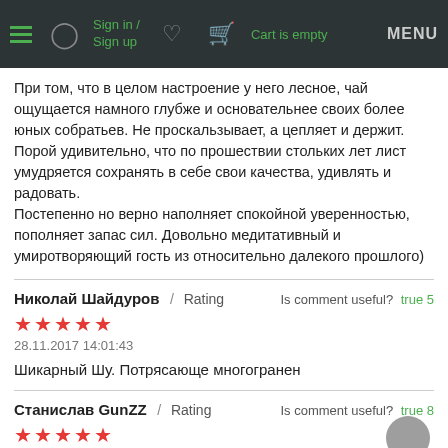Sign in / Sign up  Cart is empty  MENU
При том, что в целом настроение у него лесное, чай ощущается намного глубже и основательнее своих более юных собратьев. Не проскальзывает, а цепляет и держит.
Порой удивительно, что по прошествии стольких лет лист умудряется сохранять в себе свои качества, удивлять и радовать.
Постепенно но верно наполняет спокойной уверенностью, пополняет запас сил. Довольно медитативный и умиротворяющий гость из относительно далекого прошлого)
Николай Шайдуров  /  Rating
★★★★★
28.11.2017 14:01:43

Шикарный Шу. Потрясающе многогранен

Is comment useful?  true 5
Станислав GunZZ  /  Rating
★★★★★
18.11.2017 00:20:28

Is comment useful?  true 8